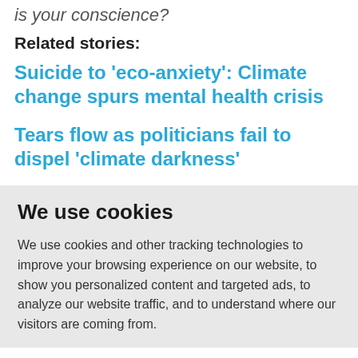is your conscience?
Related stories:
Suicide to 'eco-anxiety': Climate change spurs mental health crisis
Tears flow as politicians fail to dispel 'climate darkness'
We use cookies
We use cookies and other tracking technologies to improve your browsing experience on our website, to show you personalized content and targeted ads, to analyze our website traffic, and to understand where our visitors are coming from.